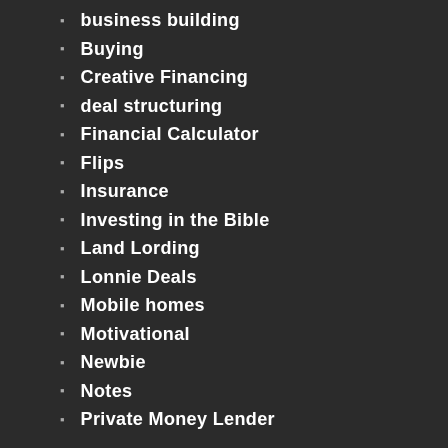business building
Buying
Creative Financing
deal structuring
Financial Calculator
Flips
Insurance
Investing in the Bible
Land Lording
Lonnie Deals
Mobile homes
Motivational
Newbie
Notes
Private Money Lender